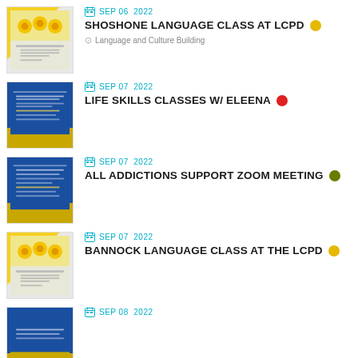[Figure (photo): Yellow flowers flyer thumbnail for Shoshone Language Class]
SEP 06 2022
SHOSHONE LANGUAGE CLASS AT LCPD
Language and Culture Building
[Figure (photo): Blue flyer thumbnail for Life Skills Classes]
SEP 07 2022
LIFE SKILLS CLASSES W/ ELEENA
[Figure (photo): Blue flyer thumbnail for All Addictions Support Zoom Meeting]
SEP 07 2022
ALL ADDICTIONS SUPPORT ZOOM MEETING
[Figure (photo): Yellow flowers flyer thumbnail for Bannock Language Class]
SEP 07 2022
BANNOCK LANGUAGE CLASS AT THE LCPD
[Figure (photo): Blue flyer thumbnail for Sep 08 event]
SEP 08 2022